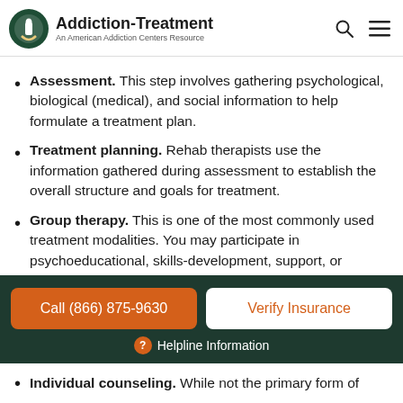Addiction-Treatment — An American Addiction Centers Resource
Assessment. This step involves gathering psychological, biological (medical), and social information to help formulate a treatment plan.
Treatment planning. Rehab therapists use the information gathered during assessment to establish the overall structure and goals for treatment.
Group therapy. This is one of the most commonly used treatment modalities. You may participate in psychoeducational, skills-development, support, or interpersonal process groups.
Call (866) 875-9630 | Verify Insurance | ? Helpline Information
Individual counseling. While not the primary form of